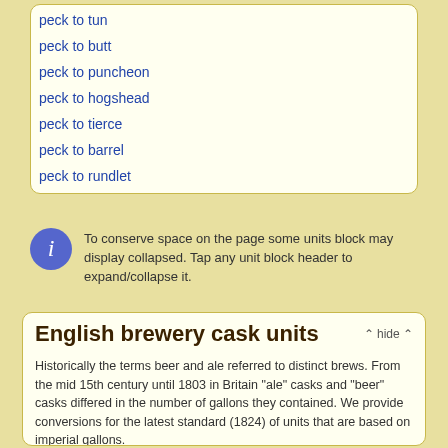peck to tun
peck to butt
peck to puncheon
peck to hogshead
peck to tierce
peck to barrel
peck to rundlet
To conserve space on the page some units block may display collapsed. Tap any unit block header to expand/collapse it.
English brewery cask units
Historically the terms beer and ale referred to distinct brews. From the mid 15th century until 1803 in Britain "ale" casks and "beer" casks differed in the number of gallons they contained. We provide conversions for the latest standard (1824) of units that are based on imperial gallons.
peck to hogshead